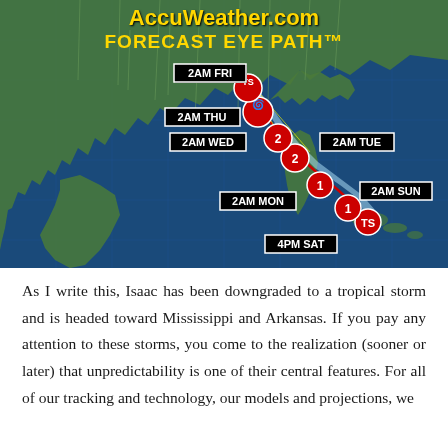[Figure (map): AccuWeather.com Forecast Eye Path map showing hurricane Isaac's projected track from 4PM SAT through 2AM FRI, passing over Florida and heading toward Mississippi/Arkansas. Time labels: 4PM SAT, 2AM SUN, 2AM MON, 2AM TUE, 2AM WED, 2AM THU, 2AM FRI. The track cone is shown in light blue. Storm intensity markers (category 1, 2) shown in red circles along the path.]
As I write this, Isaac has been downgraded to a tropical storm and is headed toward Mississippi and Arkansas. If you pay any attention to these storms, you come to the realization (sooner or later) that unpredictability is one of their central features. For all of our tracking and technology, our models and projections, we